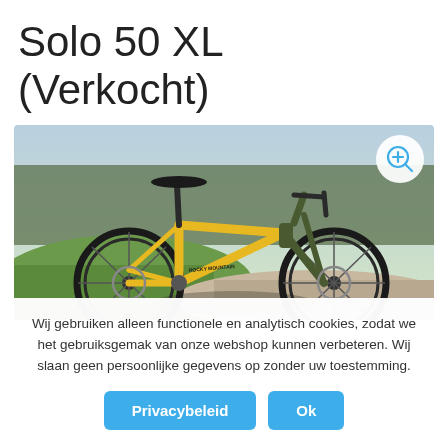Solo 50 XL (Verkocht)
[Figure (photo): Yellow Rocky Mountain Solo 50 XL bicycle leaning on a gravel path with green fields and trees in background. A zoom icon (magnifying glass with plus) is visible in the top-right corner of the image.]
Wij gebruiken alleen functionele en analytisch cookies, zodat we het gebruiksgemak van onze webshop kunnen verbeteren. Wij slaan geen persoonlijke gegevens op zonder uw toestemming.
Privacybeleid
Ok